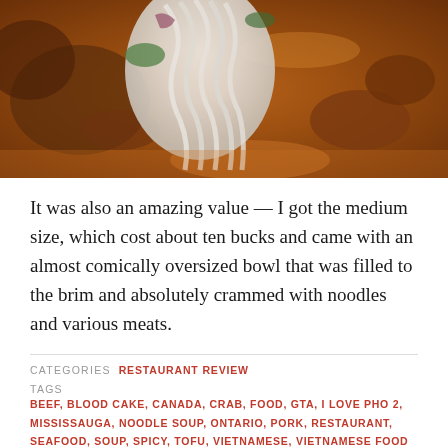[Figure (photo): Close-up photo of Vietnamese pho soup bowl with white rice noodles piled high, brown broth, various meats, herbs, and toppings visible]
It was also an amazing value — I got the medium size, which cost about ten bucks and came with an almost comically oversized bowl that was filled to the brim and absolutely crammed with noodles and various meats.
CATEGORIES  RESTAURANT REVIEW
TAGS  BEEF, BLOOD CAKE, CANADA, CRAB, FOOD, GTA, I LOVE PHO 2, MISSISSAUGA, NOODLE SOUP, ONTARIO, PORK, RESTAURANT, SEAFOOD, SOUP, SPICY, TOFU, VIETNAMESE, VIETNAMESE FOOD